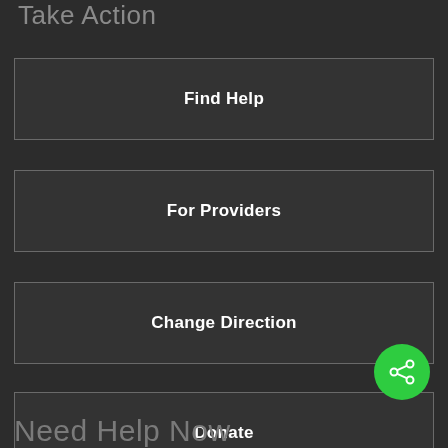Take Action
Find Help
For Providers
Change Direction
Donate
[Figure (other): Green circular share/social button with share icon]
Need Help Now